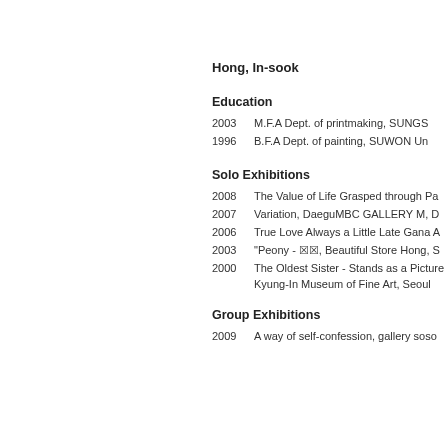Hong, In-sook
Education
2003  M.F.A  Dept. of printmaking, SUNGS...
1996  B.F.A  Dept. of painting, SUWON Un...
Solo Exhibitions
2008  The Value of Life Grasped through Pa...
2007  Variation, DaeguMBC GALLERY M, D...
2006  True Love Always a Little Late Gana A...
2003  "Peony - ☒☒, Beautiful Store Hong, S...
2000  The Oldest Sister - Stands as a Picture...
Kyung-In Museum of Fine Art, Seoul
Group Exhibitions
2009  A way of self-confession, gallery soso...